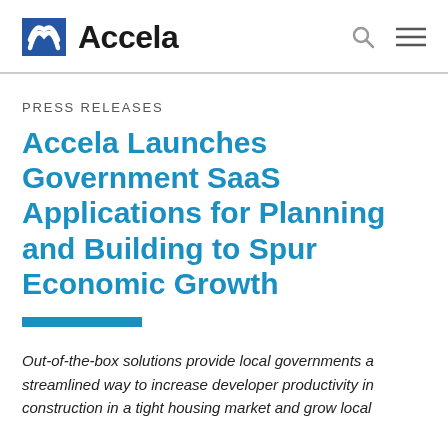Accela
PRESS RELEASES
Accela Launches Government SaaS Applications for Planning and Building to Spur Economic Growth
Out-of-the-box solutions provide local governments a streamlined way to increase developer productivity in construction in a tight housing market and grow local